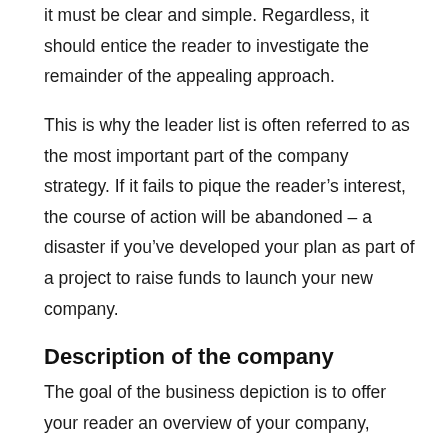it must be clear and simple. Regardless, it should entice the reader to investigate the remainder of the appealing approach.
This is why the leader list is often referred to as the most important part of the company strategy. If it fails to pique the reader's interest, the course of action will be abandoned – a disaster if you've developed your plan as part of a project to raise funds to launch your new company.
Description of the company
The goal of the business depiction is to offer your reader an overview of your company,